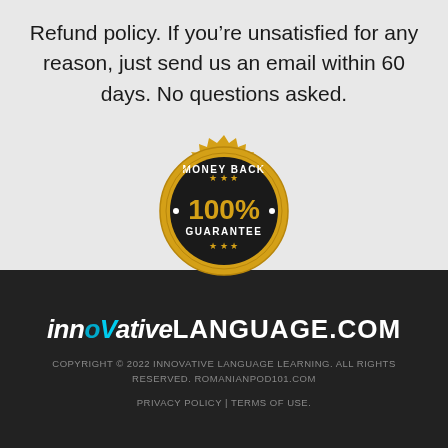Refund policy. If you’re unsatisfied for any reason, just send us an email within 60 days. No questions asked.
[Figure (illustration): Gold and black circular badge/seal with 'MONEY BACK GUARANTEE' text around the outside and '100%' in the center]
innovative LANGUAGE.COM
COPYRIGHT © 2022 INNOVATIVE LANGUAGE LEARNING. ALL RIGHTS RESERVED. ROMANIANPOD101.COM
PRIVACY POLICY | TERMS OF USE.